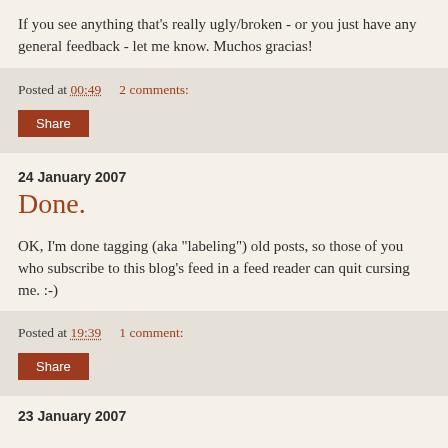If you see anything that's really ugly/broken - or you just have any general feedback - let me know. Muchos gracias!
Posted at 00:49    2 comments:
Share
24 January 2007
Done.
OK, I'm done tagging (aka "labeling") old posts, so those of you who subscribe to this blog's feed in a feed reader can quit cursing me. :-)
Posted at 19:39    1 comment:
Share
23 January 2007